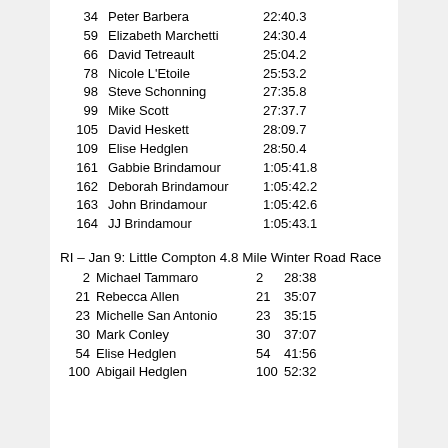34   Peter Barbera      22:40.3
59   Elizabeth Marchetti 24:30.4
66   David Tetreault     25:04.2
78   Nicole L'Etoile     25:53.2
98   Steve Schonning     27:35.8
99   Mike Scott          27:37.7
105  David Heskett       28:09.7
109  Elise Hedglen       28:50.4
161  Gabbie Brindamour   1:05:41.8
162  Deborah Brindamour  1:05:42.2
163  John Brindamour     1:05:42.6
164  JJ Brindamour       1:05:43.1
RI – Jan 9: Little Compton 4.8 Mile Winter Road Race
2   Michael Tammaro    2  28:38
21  Rebecca Allen      21 35:07
23  Michelle San Antonio 23 35:15
30  Mark Conley        30 37:07
54  Elise Hedglen      54 41:56
100 Abigail Hedglen   100 52:32